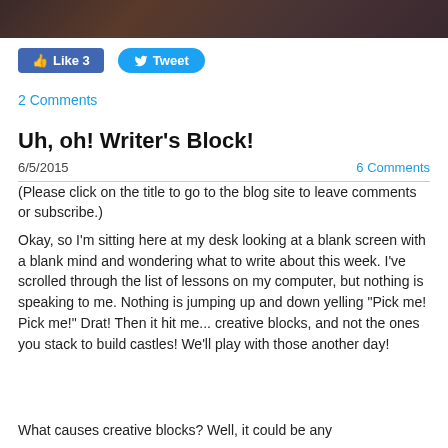[Figure (photo): Dark textured hero image at top of page]
Like 3   Tweet
2 Comments
Uh, oh! Writer's Block!
6/5/2015   6 Comments
(Please click on the title to go to the blog site to leave comments or subscribe.)
Okay, so I'm sitting here at my desk looking at a blank screen with a blank mind and wondering what to write about this week. I've scrolled through the list of lessons on my computer, but nothing is speaking to me. Nothing is jumping up and down yelling "Pick me! Pick me!" Drat! Then it hit me... creative blocks, and not the ones you stack to build castles! We'll play with those another day!
What causes creative blocks? Well, it could be any